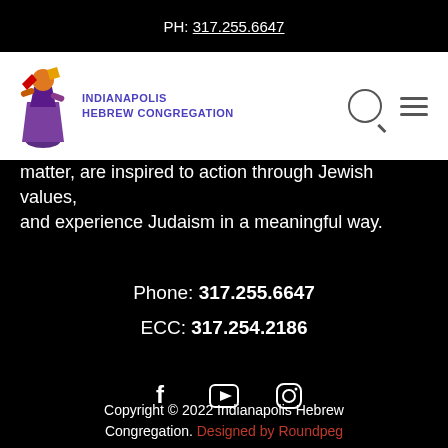PH: 317.255.6647
[Figure (logo): Indianapolis Hebrew Congregation logo with colorful abstract figure and purple text]
matter, are inspired to action through Jewish values, and experience Judaism in a meaningful way.
Phone: 317.255.6647
ECC: 317.254.2186
[Figure (infographic): Social media icons: Facebook, YouTube, Instagram]
Log Into My Account
Copyright © 2022 Indianapolis Hebrew Congregation. Designed by Roundpeg